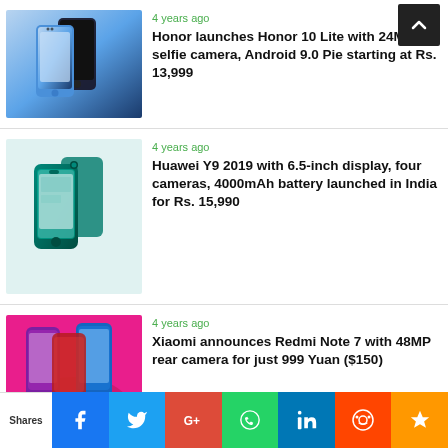[Figure (screenshot): Honor 10 Lite smartphones in blue/black gradient color]
4 years ago
Honor launches Honor 10 Lite with 24MP selfie camera, Android 9.0 Pie starting at Rs. 13,999
[Figure (screenshot): Huawei Y9 2019 teal/green smartphone]
4 years ago
Huawei Y9 2019 with 6.5-inch display, four cameras, 4000mAh battery launched in India for Rs. 15,990
[Figure (screenshot): Xiaomi Redmi Note 7 smartphones in purple and blue on pink background]
4 years ago
Xiaomi announces Redmi Note 7 with 48MP rear camera for just 999 Yuan ($150)
[Figure (screenshot): XOLO Era 4X smartphone on dark background]
4 years ago
XOLO Era 4X launched in India starting at Rs. 4,444. Era 5X with
Shares | Facebook | Twitter | Google+ | WhatsApp | LinkedIn | Reddit | Crown